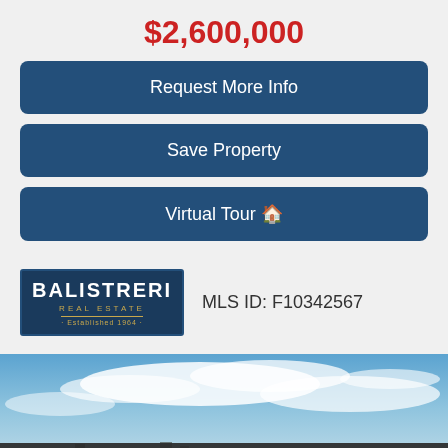$2,600,000
Request More Info
Save Property
Virtual Tour 🏠
[Figure (logo): Balistreri Real Estate logo — Established 1964]
MLS ID: F10342567
[Figure (photo): Aerial photo of a property area with blue sky and clouds above a landscape]
www.lindawoodhouserealtor.com uses cookies to ensure the
Learn More
Ok
Privacy · Terms